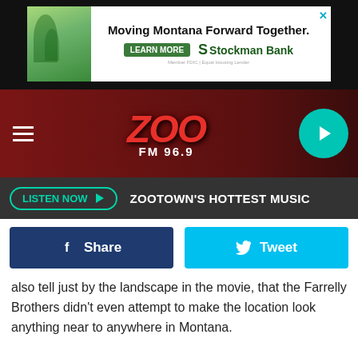[Figure (screenshot): Stockman Bank advertisement banner: 'Moving Montana Forward Together.' with LEARN MORE button and Stockman Bank logo]
[Figure (logo): Zoo FM 96.9 radio station navigation bar with hamburger menu, Zoo FM 96.9 logo in red italic, and teal play button]
[Figure (screenshot): Listen Now button with 'ZOOTOWN'S HOTTEST MUSIC' text on dark gray bar]
[Figure (screenshot): Facebook Share and Twitter Tweet social sharing buttons]
also tell just by the landscape in the movie, that the Farrelly Brothers didn't even attempt to make the location look anything near to anywhere in Montana.
BUT...In the scene where Jack Black meets Tony Robbins in the elevator. Jack (aka Hal) turns to Tony and says "So, what brings you to Montana?"
3) Cut Bank (2014)